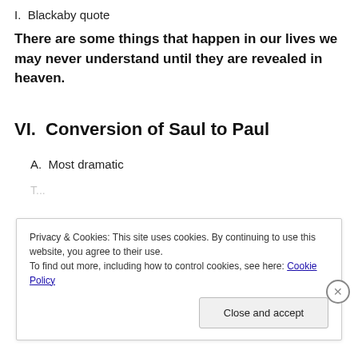I.  Blackaby quote
There are some things that happen in our lives we may never understand until they are revealed in heaven.
VI.  Conversion of Saul to Paul
A.  Most dramatic
Privacy & Cookies: This site uses cookies. By continuing to use this website, you agree to their use.
To find out more, including how to control cookies, see here: Cookie Policy
Close and accept